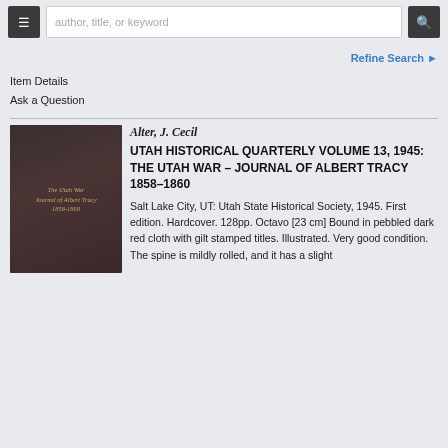author, title, or keyword
Refine Search
Item Details
Ask a Question
[Figure (photo): Book cover of Utah Historical Quarterly Volume 13, 1945: The Utah War - Journal of Albert Tracy 1858-1860. Dark reddish-brown pebbled cloth cover with gilt stamped titles.]
Alter, J. Cecil
UTAH HISTORICAL QUARTERLY VOLUME 13, 1945: THE UTAH WAR – JOURNAL OF ALBERT TRACY 1858–1860
Salt Lake City, UT: Utah State Historical Society, 1945. First edition. Hardcover. 128pp. Octavo [23 cm] Bound in pebbled dark red cloth with gilt stamped titles. Illustrated. Very good condition. The spine is mildly rolled, and it has a slight